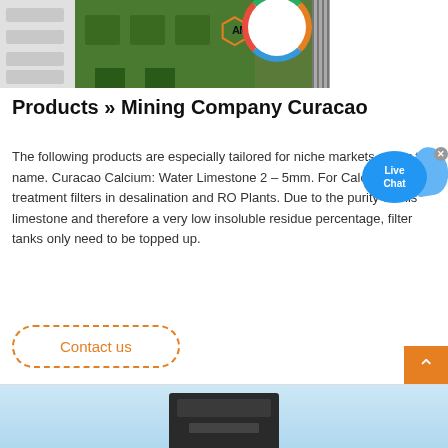[Figure (photo): Green industrial mining/crushing machine with white shelving units on the left and metal rods on the right. An orange hexagon shape and circular AMC logo are visible.]
Products » Mining Company Curacao
The following products are especially tailored for niche markets under the name. Curacao Calcium: Water Limestone 2 – 5mm. For Calcium Post treatment filters in desalination and RO Plants. Due to the purity of this limestone and therefore a very low insoluble residue percentage, filter tanks only need to be topped up.
[Figure (other): Live Chat bubble/widget overlay in blue]
Contact us
[Figure (photo): Partial view of a dark industrial machine on a light blue background at the bottom of the page]